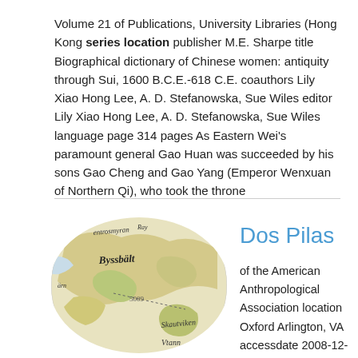Volume 21 of Publications, University Libraries (Hong Kong series location publisher M.E. Sharpe title Biographical dictionary of Chinese women: antiquity through Sui, 1600 B.C.E.-618 C.E. coauthors Lily Xiao Hong Lee, A. D. Stefanowska, Sue Wiles editor Lily Xiao Hong Lee, A. D. Stefanowska, Sue Wiles language page 314 pages As Eastern Wei's paramount general Gao Huan was succeeded by his sons Gao Cheng and Gao Yang (Emperor Wenxuan of Northern Qi), who took the throne
[Figure (map): Circular cropped antique map showing geographical features with old-style typography labels including 'Byssbält', 'Skautviken', 'Vtann', 'Ray', 'entrosmyran']
Dos Pilas
of the American Anthropological Association location Oxford Arlington, VA accessdate 2008-12-19 :